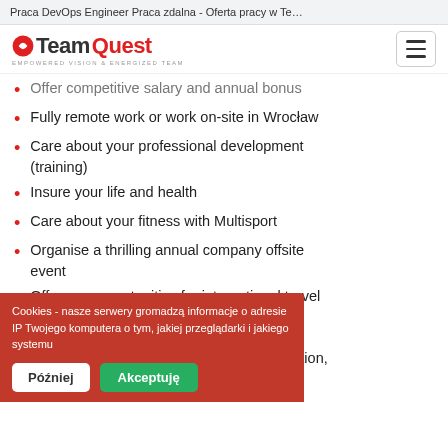Praca DevOps Engineer Praca zdalna - Oferta pracy w Te…
[Figure (logo): TeamQuest logo with red icon and tagline EMPOWERED VISION & ENERGIZED TEAM]
Offer competitive salary and annual bonus
Fully remote work or work on-site in Wrocław
Care about your professional development (training)
Insure your life and health
Care about your fitness with Multisport
Organise a thrilling annual company offsite event
Offer you opportunities for international travel
Good to have:
Database administration (backups, replication,
web framework (Django,
Cookies - nasze serwery gromadzą informacje o adresie IP Twojego komputera o tym, jakiej przeglądarki i jakiego systemu